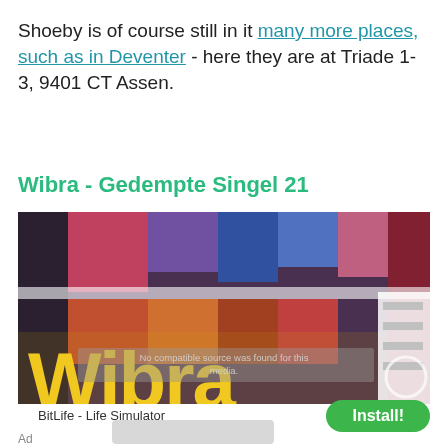Shoeby is of course still in it many more places, such as in Deventer - here they are at Triade 1-3, 9401 CT Assen.
Wibra - Gedempte Singel 21
[Figure (photo): Storefront photo of a Wibra clothing store, showing the large yellow Wibra logo text over colourful clothing racks. A grey overlay reads 'No compatible source was found for this media.']
BitLife - Life Simulator
Ad